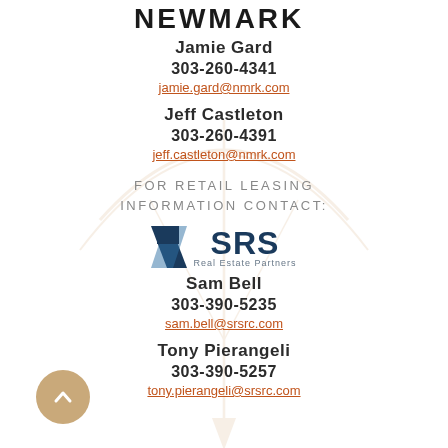[Figure (logo): Newmark logo at top (partially cropped)]
Jamie Gard
303-260-4341
jamie.gard@nmrk.com
Jeff Castleton
303-260-4391
jeff.castleton@nmrk.com
FOR RETAIL LEASING INFORMATION CONTACT:
[Figure (logo): SRS Real Estate Partners logo]
Sam Bell
303-390-5235
sam.bell@srsre.com
Tony Pierangeli
303-390-5257
tony.pierangeli@srsre.com